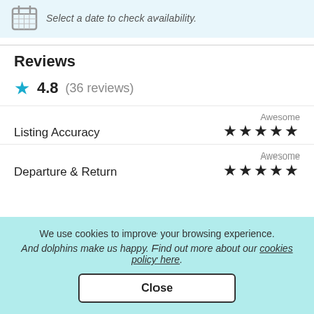[Figure (illustration): Light blue banner with a calendar grid icon on the left and italic text reading 'Select a date to check availability.']
Reviews
4.8 (36 reviews)
Listing Accuracy — Awesome ★★★★★
Departure & Return — Awesome ★★★★★
We use cookies to improve your browsing experience.
And dolphins make us happy. Find out more about our cookies policy here.
Close